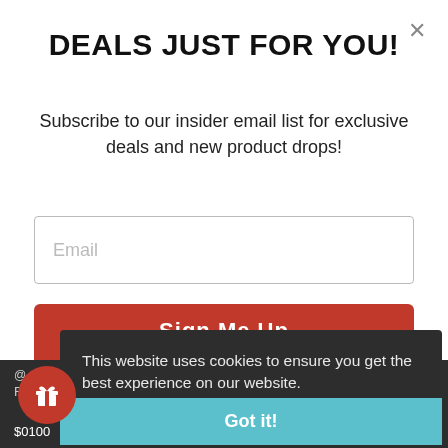DEALS JUST FOR YOU!
Subscribe to our insider email list for exclusive deals and new product drops!
Email
Sign Me Up
This website uses cookies to ensure you get the best experience on our website.
Learn more
Got it!